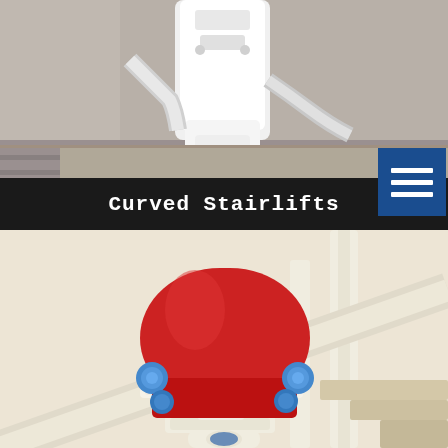[Figure (photo): Close-up photo of a white curved stairlift mechanism showing the rail and chair base at the top of a staircase]
Curved Stairlifts
[Figure (photo): Photo of a red-seated stairlift chair with blue armrest controls mounted on a white rail system next to a staircase banister]